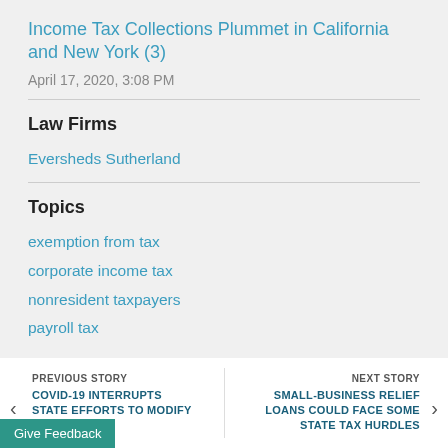Income Tax Collections Plummet in California and New York (3)
April 17, 2020, 3:08 PM
Law Firms
Eversheds Sutherland
Topics
exemption from tax
corporate income tax
nonresident taxpayers
payroll tax
PREVIOUS STORY COVID-19 INTERRUPTS STATE EFFORTS TO MODIFY CODES | NEXT STORY SMALL-BUSINESS RELIEF LOANS COULD FACE SOME STATE TAX HURDLES